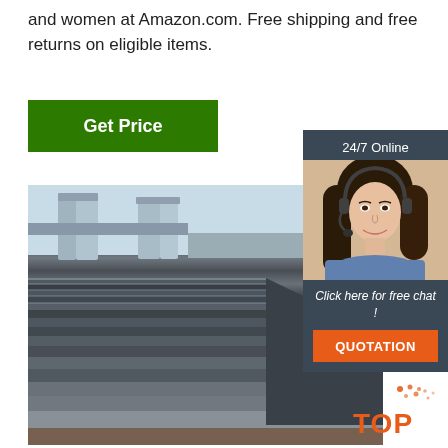and women at Amazon.com. Free shipping and free returns on eligible items.
Get Price
[Figure (photo): Stack of steel or metal plates/sheets outdoors with highway overpass pillars and a scrapyard visible in the background.]
24/7 Online
[Figure (photo): Customer service woman wearing headset, smiling, in a blue shirt.]
Click here for free chat !
QUOTATION